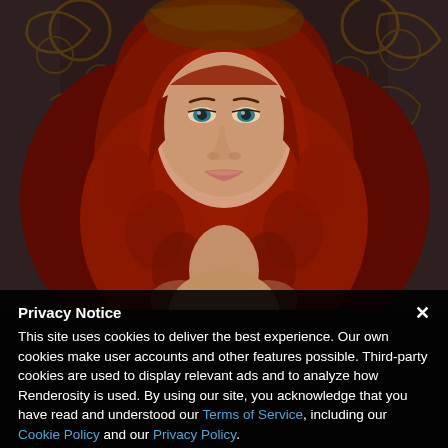[Figure (illustration): Digital painting of a woman with long, voluminous curly red hair, blue eyes, and a neutral expression. Ornate swirling decorative elements in the background in dark gold/brown tones. The image is cropped to show her face and upper body.]
Privacy Notice
This site uses cookies to deliver the best experience. Our own cookies make user accounts and other features possible. Third-party cookies are used to display relevant ads and to analyze how Renderosity is used. By using our site, you acknowledge that you have read and understood our Terms of Service, including our Cookie Policy and our Privacy Policy.